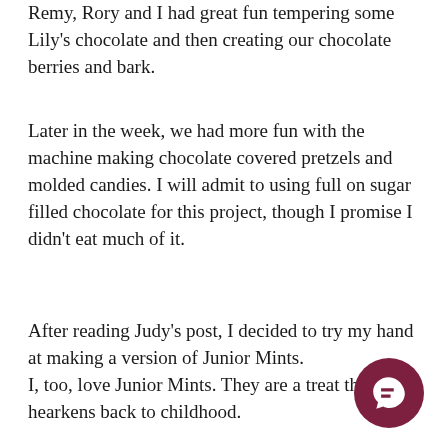Remy, Rory and I had great fun tempering some Lily's chocolate and then creating our chocolate berries and bark.
Later in the week, we had more fun with the machine making chocolate covered pretzels and molded candies. I will admit to using full on sugar filled chocolate for this project, though I promise I didn't eat much of it.
After reading Judy's post, I decided to try my hand at making a version of Junior Mints.
I, too, love Junior Mints. They are a treat that hearkens back to childhood.
[Figure (illustration): Dark maroon/burgundy circular chat button with a speech bubble icon in the bottom right corner of the page]